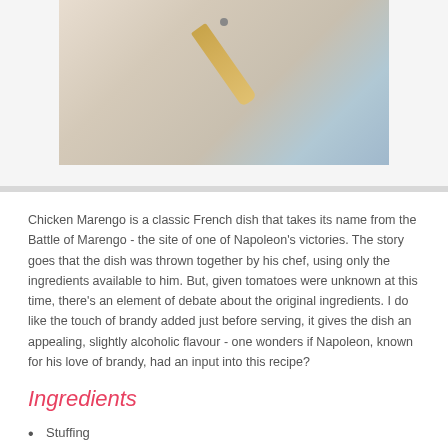[Figure (photo): Top portion of a photo showing a blue bowl and a wooden-handled utensil on a white linen surface]
Chicken Marengo is a classic French dish that takes its name from the Battle of Marengo - the site of one of Napoleon's victories. The story goes that the dish was thrown together by his chef, using only the ingredients available to him. But, given tomatoes were unknown at this time, there's an element of debate about the original ingredients. I do like the touch of brandy added just before serving, it gives the dish an appealing, slightly alcoholic flavour - one wonders if Napoleon, known for his love of brandy, had an input into this recipe?
Ingredients
Stuffing
3 cups fresh breadcrumbs, white or brown
½ cup pine nuts, toasted